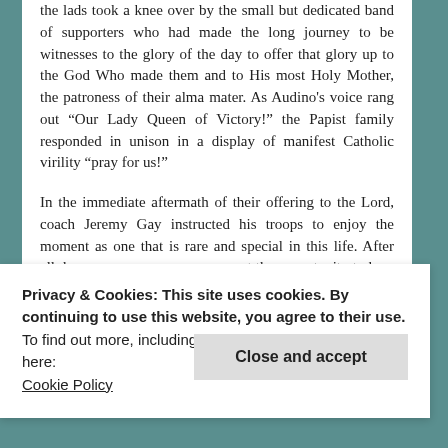the lads took a knee over by the small but dedicated band of supporters who had made the long journey to be witnesses to the glory of the day to offer that glory up to the God Who made them and to His most Holy Mother, the patroness of their alma mater. As Audino's voice rang out “Our Lady Queen of Victory!” the Papist family responded in unison in a display of manifest Catholic virility “pray for us!”
In the immediate aftermath of their offering to the Lord, coach Jeremy Gay instructed his troops to enjoy the moment as one that is rare and special in this life. After all, how many young men ever get the opportunity to be a part of such a special band of brothers and passionately faithful brothers at that? Given that the current coaching staff represent much of the core visionaries that founded and gave life to the club,
Privacy & Cookies: This site uses cookies. By continuing to use this website, you agree to their use.
To find out more, including how to control cookies, see here: Cookie Policy
Close and accept